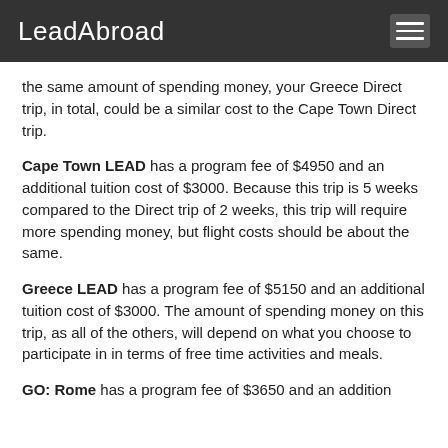LeadAbroad
the same amount of spending money, your Greece Direct trip, in total, could be a similar cost to the Cape Town Direct trip.
Cape Town LEAD has a program fee of $4950 and an additional tuition cost of $3000. Because this trip is 5 weeks compared to the Direct trip of 2 weeks, this trip will require more spending money, but flight costs should be about the same.
Greece LEAD has a program fee of $5150 and an additional tuition cost of $3000. The amount of spending money on this trip, as all of the others, will depend on what you choose to participate in in terms of free time activities and meals.
GO: Rome has a program fee of $3650 and an addition